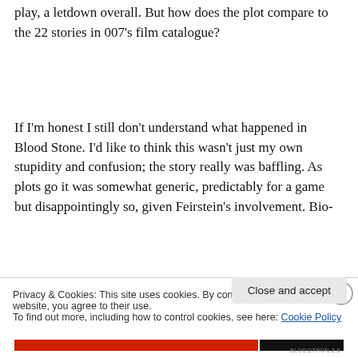play, a letdown overall. But how does the plot compare to the 22 stories in 007's film catalogue?
If I'm honest I still don't understand what happened in Blood Stone. I'd like to think this wasn't just my own stupidity and confusion; the story really was baffling. As plots go it was somewhat generic, predictably for a game but disappointingly so, given Feirstein's involvement. Bio-
Privacy & Cookies: This site uses cookies. By continuing to use this website, you agree to their use.
To find out more, including how to control cookies, see here: Cookie Policy